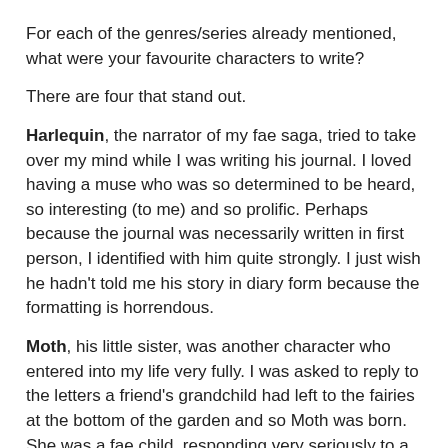For each of the genres/series already mentioned, what were your favourite characters to write?
There are four that stand out.
Harlequin, the narrator of my fae saga, tried to take over my mind while I was writing his journal. I loved having a muse who was so determined to be heard, so interesting (to me) and so prolific. Perhaps because the journal was necessarily written in first person, I identified with him quite strongly. I just wish he hadn't told me his story in diary form because the formatting is horrendous.
Moth, his little sister, was another character who entered into my life very fully. I was asked to reply to the letters a friend's grandchild had left to the fairies at the bottom of the garden and so Moth was born. She was a fae child, responding very seriously to a human child, and she had difficulties with writing, spelling, siblings, etc. She became very real to me and to everyone who